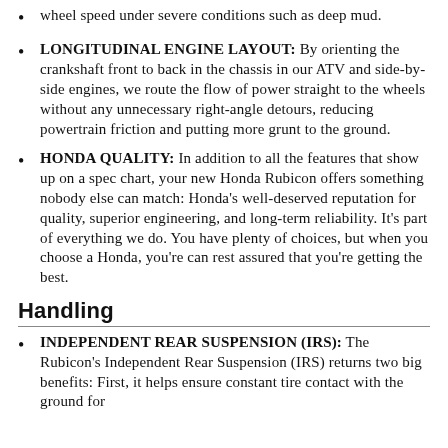wheel speed under severe conditions such as deep mud.
LONGITUDINAL ENGINE LAYOUT: By orienting the crankshaft front to back in the chassis in our ATV and side-by-side engines, we route the flow of power straight to the wheels without any unnecessary right-angle detours, reducing powertrain friction and putting more grunt to the ground.
HONDA QUALITY: In addition to all the features that show up on a spec chart, your new Honda Rubicon offers something nobody else can match: Honda’s well-deserved reputation for quality, superior engineering, and long-term reliability. It’s part of everything we do. You have plenty of choices, but when you choose a Honda, you’re can rest assured that you’re getting the best.
Handling
INDEPENDENT REAR SUSPENSION (IRS): The Rubicon’s Independent Rear Suspension (IRS) returns two big benefits: First, it helps ensure constant tire contact with the ground for